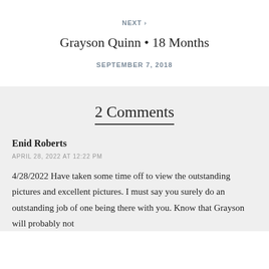NEXT >
Grayson Quinn • 18 Months
SEPTEMBER 7, 2018
2 Comments
Enid Roberts
APRIL 28, 2022 AT 12:22 PM
4/28/2022 Have taken some time off to view the outstanding pictures and excellent pictures. I must say you surely do an outstanding job of one being there with you. Know that Grayson will probably not